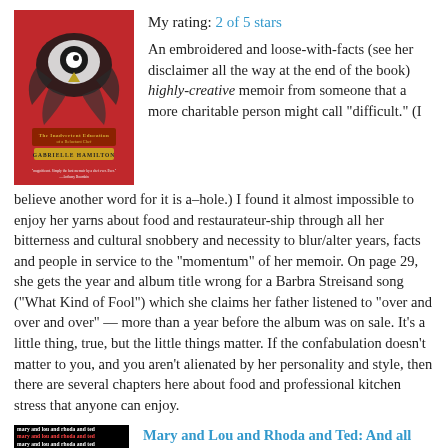[Figure (illustration): Book cover: red background with a bird/fish illustration. Title reads 'The Inadvertent Education of a Reluctant Chef' by Gabrielle Hamilton]
My rating: 2 of 5 stars
An embroidered and loose-with-facts (see her disclaimer all the way at the end of the book) highly-creative memoir from someone that a more charitable person might call "difficult." (I believe another word for it is a–hole.) I found it almost impossible to enjoy her yarns about food and restaurateur-ship through all her bitterness and cultural snobbery and necessity to blur/alter years, facts and people in service to the "momentum" of her memoir. On page 29, she gets the year and album title wrong for a Barbra Streisand song ("What Kind of Fool") which she claims her father listened to "over and over and over" — more than a year before the album was on sale. It's a little thing, true, but the little things matter. If the confabulation doesn't matter to you, and you aren't alienated by her personality and style, then there are several chapters here about food and professional kitchen stress that anyone can enjoy.
[Figure (illustration): Book cover for 'Mary and Lou and Rhoda and Ted' — black background with repeating text in multiple colors]
Mary and Lou and Rhoda and Ted: And all the Brilliant Minds Who Made The Mary Tyler Moore Show a Classic by Jennifer Keishin Armstrong